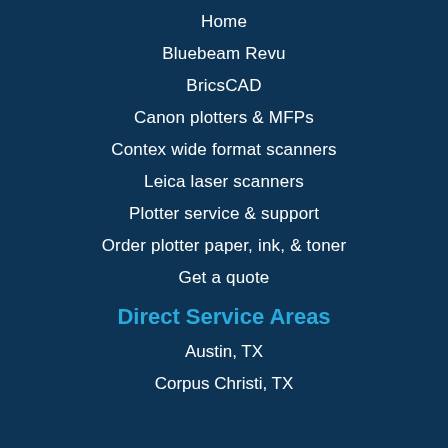Home
Bluebeam Revu
BricsCAD
Canon plotters & MFPs
Contex wide format scanners
Leica laser scanners
Plotter service & support
Order plotter paper, ink, & toner
Get a quote
Direct Service Areas
Austin, TX
Corpus Christi, TX